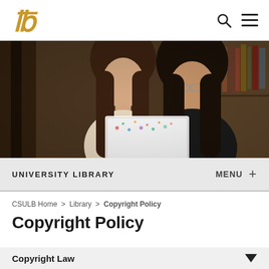CSULB University Library navigation bar with logo and search/menu icons
[Figure (photo): Two women studying together in a library, looking at a colorful laptop or notebook. Bookshelves visible in the background.]
UNIVERSITY LIBRARY   MENU +
CSULB Home > Library > Copyright Policy
Copyright Policy
Copyright Law